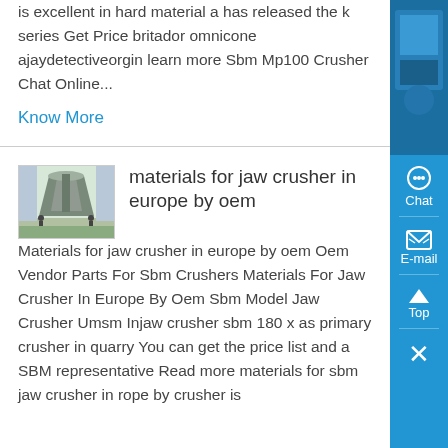is excellent in hard material a has released the k series Get Price britador omnicone ajaydetectiveorgin learn more Sbm Mp100 Crusher Chat Online...
Know More
[Figure (photo): Industrial crusher equipment inside a factory building with workers visible]
materials for jaw crusher in europe by oem
Materials for jaw crusher in europe by oem Oem Vendor Parts For Sbm Crushers Materials For Jaw Crusher In Europe By Oem Sbm Model Jaw Crusher Umsm Injaw crusher sbm 180 x as primary crusher in quarry You can get the price list and a SBM representative Read more materials for sbm jaw crusher in rope by crusher is